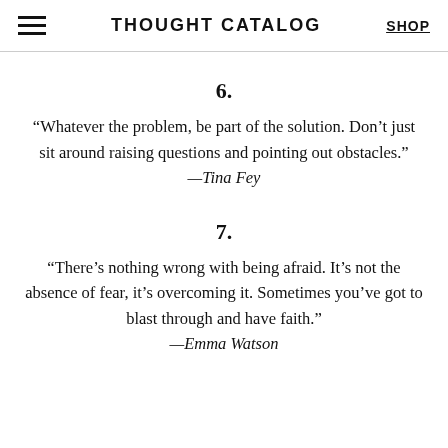THOUGHT CATALOG | SHOP
6.
“Whatever the problem, be part of the solution. Don’t just sit around raising questions and pointing out obstacles.” —Tina Fey
7.
“There’s nothing wrong with being afraid. It’s not the absence of fear, it’s overcoming it. Sometimes you’ve got to blast through and have faith.” —Emma Watson